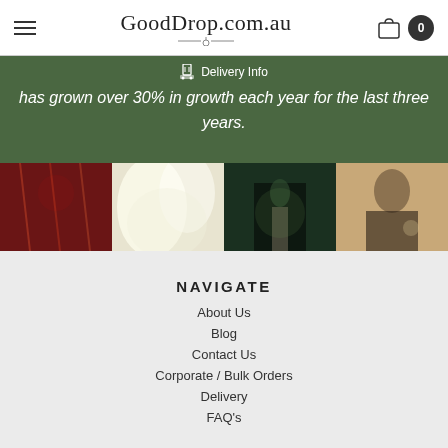GoodDrop.com.au
Delivery Info
has grown over 30% in growth each year for the last three years.
[Figure (photo): Four side-by-side atmospheric photos: woman in red light with sparkles, white feathers close-up, couple silhouetted at night, vintage-style woman with cigarette]
NAVIGATE
About Us
Blog
Contact Us
Corporate / Bulk Orders
Delivery
FAQ's